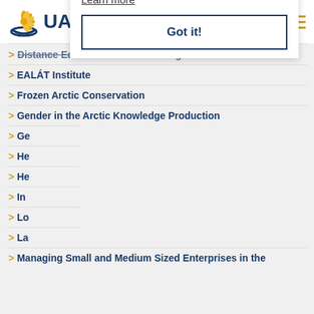UArctic | GIVE
> Distance Education and e-Learning
> EALÁT Institute
> Frozen Arctic Conservation
> Gender in the Arctic Knowledge Production
> Ge[ography...]
> He[alth...]
> He[ritage...]
> In[digenous...]
> Lo[cal...]
> La[nguage...]
> Managing Small and Medium Sized Enterprises in the
We use cookies in order to better understand how UArctic site is being used. By continuing to use the site, you agree that that is OK
Learn more
Got it!